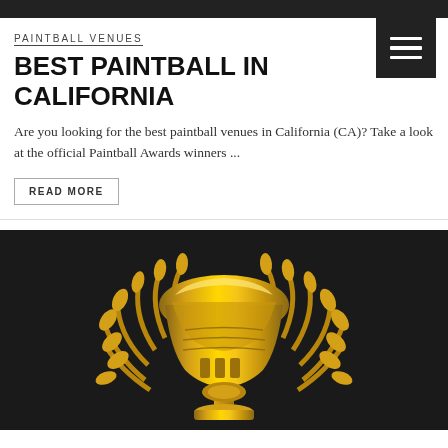PAINTBALL VENUES
BEST PAINTBALL IN CALIFORNIA
Are you looking for the best paintball venues in California (CA)? Take a look at the official Paintball Awards winners ...
READ MORE
[Figure (photo): Gold trophy shaped like a paintball mask with laurel wreath on dark background]